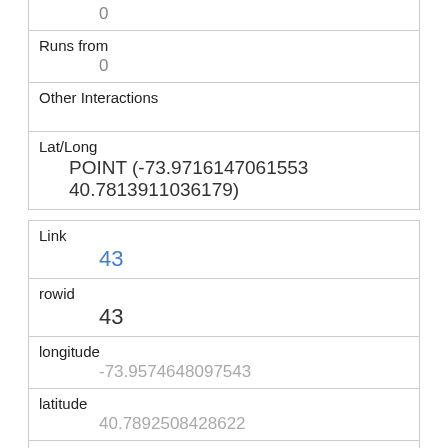|  | 0 |
| Runs from | 0 |
| Other Interactions |  |
| Lat/Long | POINT (-73.9716147061553 40.7813911036179) |
| Link | 43 |
| rowid | 43 |
| longitude | -73.9574648097543 |
| latitude | 40.7892508428622 |
| Unique Squirrel ID | 31H-PM-1008-02 |
| Hectare | 31H |
| Shift |  |